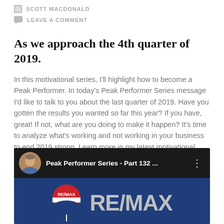SCOTT MACDONALD
LEAVE A COMMENT
As we approach the 4th quarter of 2019.
In this motivational series, I'll highlight how to become a Peak Performer. In today's Peak Performer Series message I'd like to talk to you about the last quarter of 2019. Have you gotten the results you wanted so far this year? If you have, great! If not, what are you doing to make it happen? It's time to analyze what's working and not working in your business to end 2019 strong. Learn more in my latest motivational message video.
[Figure (screenshot): YouTube video thumbnail for 'Peak Performer Series - Part 132...' showing a man's avatar photo and the RE/MAX logo on a dark blue background.]